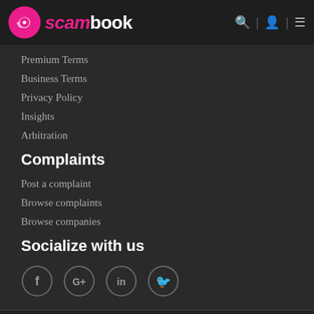[Figure (logo): Scambook logo with pink circle icon and text 'scambook' with 'scam' in pink italic and 'book' in white bold. Header bar also contains search, user, and menu icons.]
Premium Terms
Business Terms
Privacy Policy
Insights
Arbitration
Complaints
Post a complaint
Browse complaints
Browse companies
Socialize with us
[Figure (illustration): Four social media icons in circles: Facebook (f), Google+ (G+), LinkedIn (in), Twitter (bird)]
All Rights Reserved, Copyright 2016 © Scambook, LLC